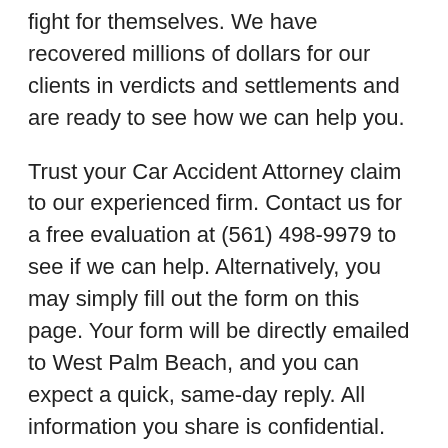fight for themselves. We have recovered millions of dollars for our clients in verdicts and settlements and are ready to see how we can help you.
Trust your Car Accident Attorney claim to our experienced firm. Contact us for a free evaluation at (561) 498-9979 to see if we can help. Alternatively, you may simply fill out the form on this page. Your form will be directly emailed to West Palm Beach, and you can expect a quick, same-day reply. All information you share is confidential.